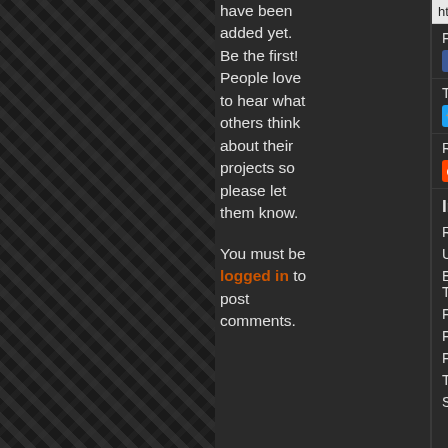[Figure (screenshot): Dark textured background with woven/herringbone pattern, dark gray/black tones]
comments have been added yet. Be the first! People love to hear what others think about their projects so please let them know.

You must be logged in to post comments.
https://www.dakkada...
Facebook:
Share on facebook
Twitter:
Share on Twitter
Reddit:
Share on Reddit
Image Details:
| Field | Value |
| --- | --- |
| Resolution: | 1936x... |
| Uploaded: | 2012-... |
| Exposure Time: | 1/15 s... |
| F-number: | F2.8 ... |
| Flash: | Flash ... |
| Focal Length: | 3.85 m... |
| Taken With: | Apple ... |
| Software: | Micros... 6.1.76... |
| Taken At: | ... |